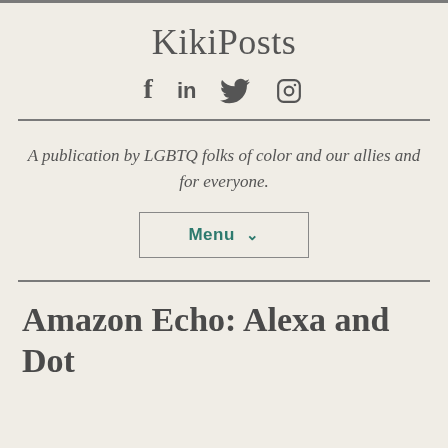KikiPosts
[Figure (infographic): Social media icons: Facebook (f), LinkedIn (in), Twitter bird, Instagram camera]
A publication by LGBTQ folks of color and our allies and for everyone.
Menu ∨
Amazon Echo: Alexa and Dot